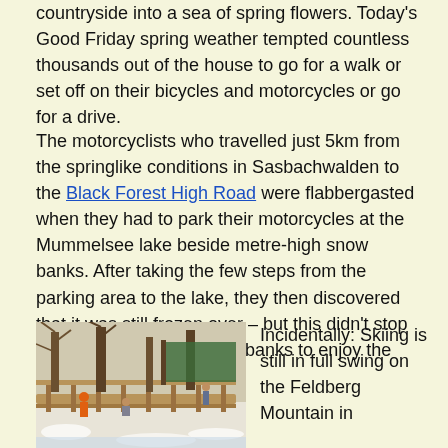countryside into a sea of spring flowers. Today's Good Friday spring weather tempted countless thousands out of the house to go for a walk or set off on their bicycles and motorcycles or go for a drive.
The motorcyclists who travelled just 5km from the springlike conditions in Sasbachwalden to the Black Forest High Road were flabbergasted when they had to park their motorcycles at the Mummelsee lake beside metre-high snow banks. After taking the few steps from the parking area to the lake, they then discovered that it was still frozen over – but this didn't stop the visitors from lining the banks to enjoy the sunshine.
[Figure (photo): Outdoor scene showing people sitting and walking on a wooden terrace/deck area surrounded by bare trees, with snow visible and a green tarpaulin-covered structure in the background.]
Incidentally: Skiing is still in full swing on the Feldberg Mountain in